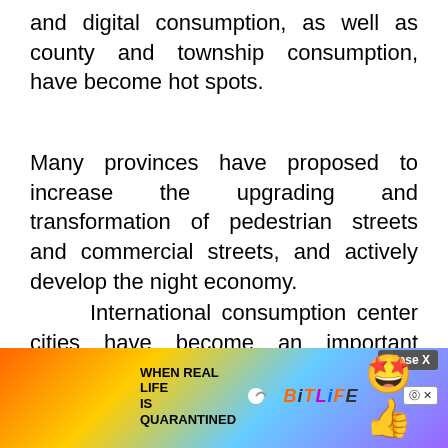and digital consumption, as well as county and township consumption, have become hot spots.
Many provinces have proposed to increase the upgrading and transformation of pedestrian streets and commercial streets, and actively develop the night economy.
International consumption center cities have become an important starting point for promoting consumption improvement and expansion this year.
For example, Shanghai said that it will accel... tional
[Figure (screenshot): Advertisement overlay for BitLife game showing 'WHEN REAL LIFE IS QUARANTINED' text with rainbow background, BitLife logo, emoji characters, a Close X button and a help/close button.]